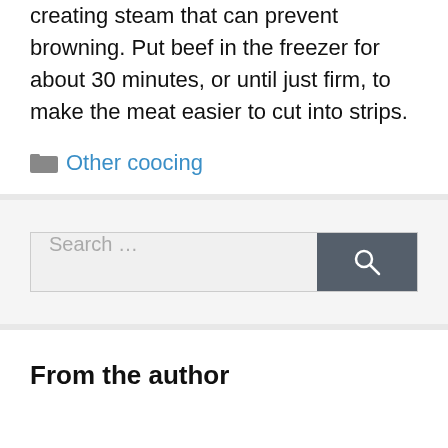creating steam that can prevent browning. Put beef in the freezer for about 30 minutes, or until just firm, to make the meat easier to cut into strips.
Other coocing
Search …
From the author